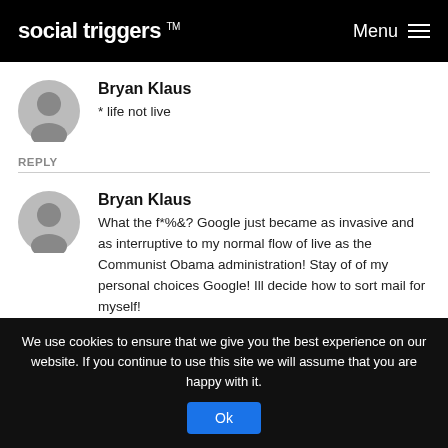social triggers™  Menu
Bryan Klaus
* life not live
REPLY
Bryan Klaus
What the f*%&? Google just became as invasive and as interruptive to my normal flow of live as the Communist Obama administration! Stay of of my personal choices Google! Ill decide how to sort mail for myself!
REPLY
We use cookies to ensure that we give you the best experience on our website. If you continue to use this site we will assume that you are happy with it.
Ok